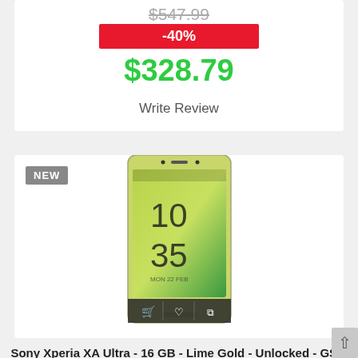$547.99 (strikethrough)
-40%
$328.79
Write Review
[Figure (photo): Sony Xperia XA Ultra lime gold smartphone product photo showing the device with time 10:35 on screen, MON 22 FEB]
Sony Xperia XA Ultra - 16 GB - Lime Gold - Unlocked - GSM
$514.99 (strikethrough)
-40%